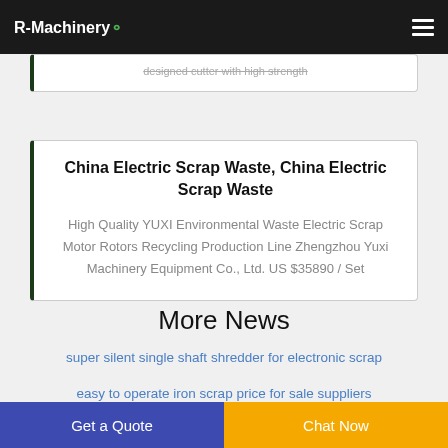R-Machinery
designed cutter with high strength
China Electric Scrap Waste, China Electric Scrap Waste
High Quality YUXI Environmental Waste Electric Scrap Motor Rotors Recycling Production Line Zhengzhou Yuxi Machinery Equipment Co., Ltd. US $35890 / Set
More News
super silent single shaft shredder for electronic scrap
easy to operate iron scrap price for sale suppliers
Get a Quote
Chat Now